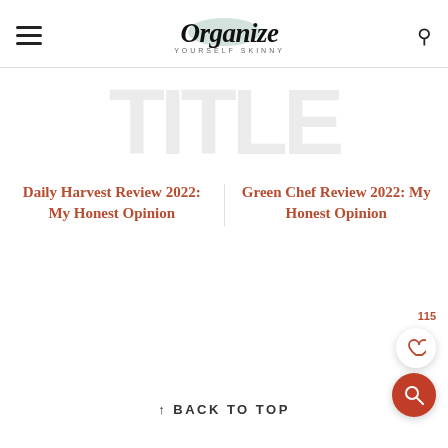Organize Yourself Skinny
[Figure (other): Background watermark text letters in light gray]
Daily Harvest Review 2022: My Honest Opinion
Green Chef Review 2022: My Honest Opinion
115
↑ BACK TO TOP